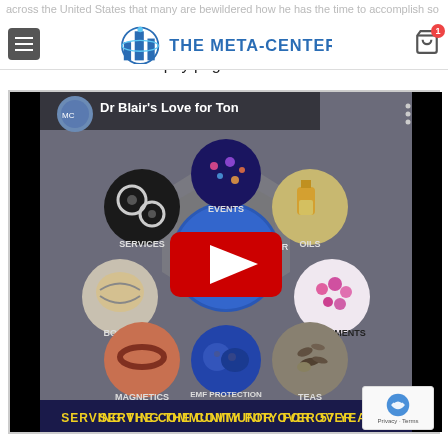across the United States that many are bewildered how he has the time to accomplish so much
THE META-CENTER (navigation bar with logo, hamburger menu, user icon, cart icon with badge 1)
Check out the Philosophy page HERE
[Figure (screenshot): YouTube video thumbnail for 'Dr Blair's Love for Tony' showing The Meta-Center product wheel with categories: Services, Events, Oils, Books, Supplements, Magnetics, EMF Protection, Teas. Center shows Meta-Center logo. Bottom banner reads: SERVING THE COMMUNITY FOR OVER 57 YEARS!]